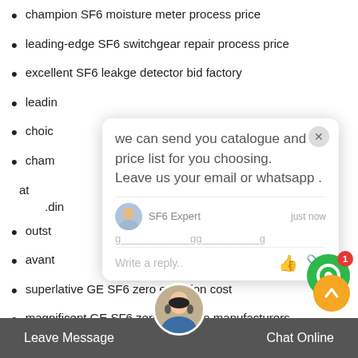champion SF6 moisture meter process price
leading-edge SF6 switchgear repair process price
excellent SF6 leakge detector bid factory
leadi[n... (partially hidden by popup)
choic[... (partially hidden by popup)
cham[... (partially hidden by popup)
at... / .din... (partially hidden by popup)
[Figure (screenshot): Chat popup overlay with message: 'we can send you catalogue and price list for you choosing. Leave us your email or whatsapp.' From SF6 Expert, just now. Write a reply input field with thumbs up and paperclip icons.]
outst[anding... (partially hidden)
avant[... (partially hidden)
superlative GE SF6 zero emission cost
magnificent GE SF6 zero emission manufacturers
exemplary mobile SF6 tools[... (partially hidden by bottom bar)
capital Solu 231 227 o SF6 rentals prices
Leave Message   Chat Online